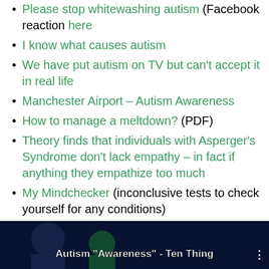Please stop whitewashing autism (Facebook reaction here
I know what causes autism
We have put autism on TV but can't accept it in real life
Manchester Airport – Autism Awareness
How to manage a meltdown? (PDF)
Theory finds that individuals with Asperger's Syndrome don't lack empathy – in fact if anything they empathize too much
My Mindchecker (inconclusive tests to check yourself for any conditions)
VIDEO: Ten things you should know about autism
[Figure (screenshot): Video thumbnail showing Autism Awareness - Ten Things video with dark background and text overlay]